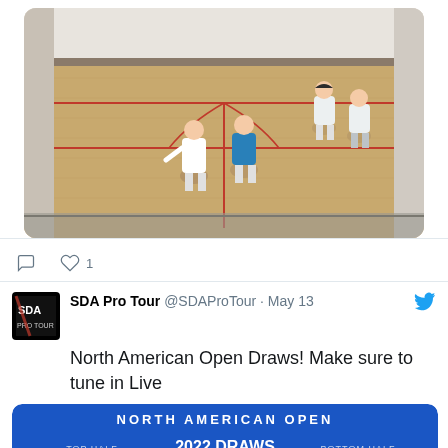[Figure (photo): Overhead view of a squash court with players playing a match. The court has a wooden floor with red lines. Three or four players visible on the court.]
1
[Figure (logo): SDA Pro Tour Twitter account logo - black square with SDA text]
SDA Pro Tour @SDAProTour · May 13
North American Open Draws! Make sure to tune in Live
[Figure (infographic): North American Open 2022 Draws bracket image on blue background with TOP HALF and BOTTOM HALF sections, LexingtonPartners and LLYC sponsor logos, showing player matchups including Arnold Scott, Stout James, Ahmad Hamzaad, Sachrin Christopher, Cuskelly Ryan, Pilley Cameron on top half, and Alexander Zoe, McArthur Greg, Berner Bobby, Hughes Josh, Dinerman Robert, Khan Mohsin on bottom half.]